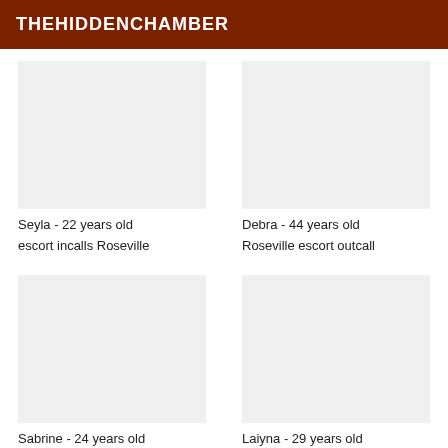THEHIDDENCHAMBER
Seyla - 22 years old
escort incalls Roseville
Debra - 44 years old
Roseville escort outcall
Sabrine - 24 years old
Laiyna - 29 years old